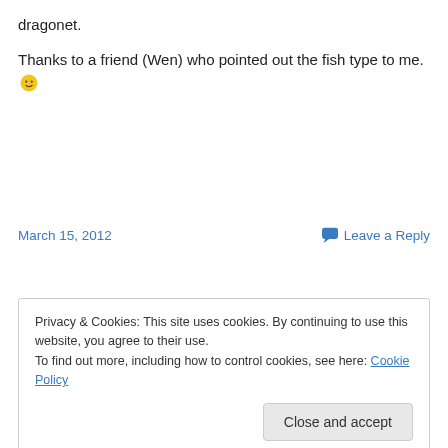dragonet.
Thanks to a friend (Wen) who pointed out the fish type to me. 🙂
March 15, 2012
Leave a Reply
Privacy & Cookies: This site uses cookies. By continuing to use this website, you agree to their use.
To find out more, including how to control cookies, see here: Cookie Policy
Close and accept